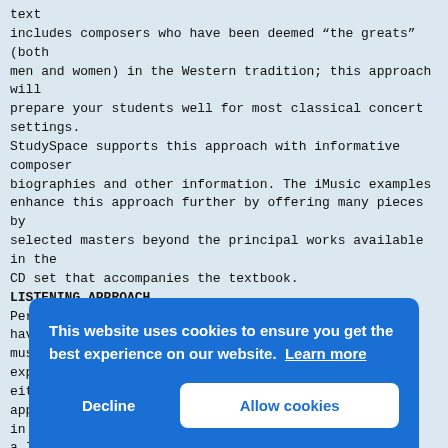text
includes composers who have been deemed “the greats” (both
men and women) in the Western tradition; this approach will
prepare your students well for most classical concert settings.
StudySpace supports this approach with informative composer
biographies and other information. The iMusic examples
enhance this approach further by offering many pieces by
selected masters beyond the principal works available in the
CD set that accompanies the textbook.
LISTENING APPROACH
Perhaps the single most important teaching tool we have for
music appreciation is the actual listening experience.
either
approach
in the
a le
often
only
have
alth
from
samp
scores,
[Figure (screenshot): Cookie consent banner overlay with blue background. Text reads: 'This website uses cookies to ensure you get the best experience on our website. Learn more' with 'Decline' and 'Allow cookies' buttons.]